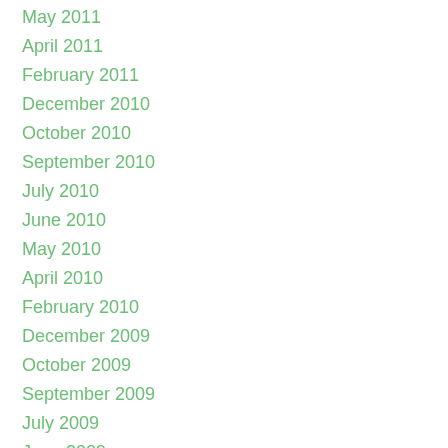May 2011
April 2011
February 2011
December 2010
October 2010
September 2010
July 2010
June 2010
May 2010
April 2010
February 2010
December 2009
October 2009
September 2009
July 2009
June 2009